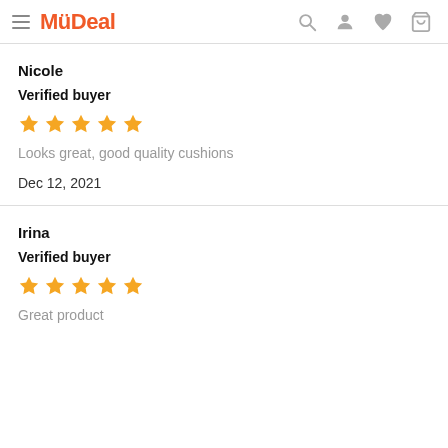MyDeal
Nicole
Verified buyer
[Figure (other): 5 star rating (gold stars)]
Looks great, good quality cushions
Dec 12, 2021
Irina
Verified buyer
[Figure (other): 5 star rating (gold stars)]
Great product